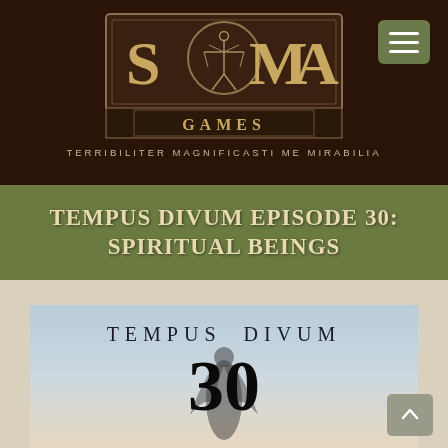[Figure (logo): SOMA Games logo with Vitruvian Man figure in circle, text SOMA GAMES in ornate style]
TERRIBILITER MAGNIFICASTI ME MIRABILIA
TEMPUS DIVUM EPISODE 30: SPIRITUAL BEINGS
[Figure (illustration): Episode 30 cover image showing TEMPUS DIVUM title, number 30, and a dark spiritual figure silhouette against a light sky background]